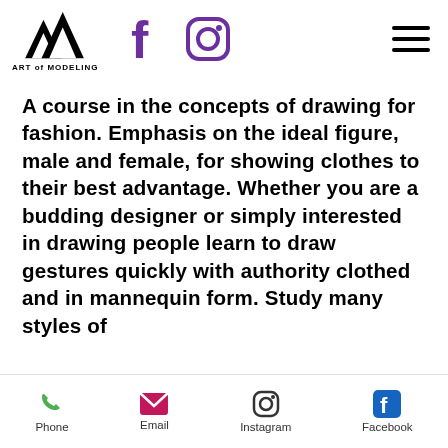[Figure (logo): Art of Modeling logo with mountain peaks and text 'ART of MODELING']
[Figure (logo): Facebook icon (purple F)]
[Figure (logo): Instagram icon (purple camera outline)]
[Figure (logo): Hamburger menu icon (three lines)]
A course in the concepts of drawing for fashion. Emphasis on the ideal figure, male and female, for showing clothes to their best advantage. Whether you are a budding designer or simply interested in drawing people learn to draw gestures quickly with authority clothed and in mannequin form. Study many styles of fashion illustration for viewers...
Phone   Email   Instagram   Facebook